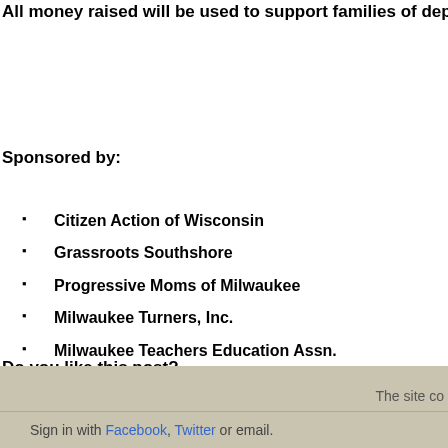All money raised will be used to support families of deportees and r…
Sponsored by:
Citizen Action of Wisconsin
Grassroots Southshore
Progressive Moms of Milwaukee
Milwaukee Turners, Inc.
Milwaukee Teachers Education Assn.
Indivisible Tosa
Wisconsin Working Families Party
Wisconsin Women's March
Do you like this post?
The site co… | Sign in with Facebook, Twitter or email.